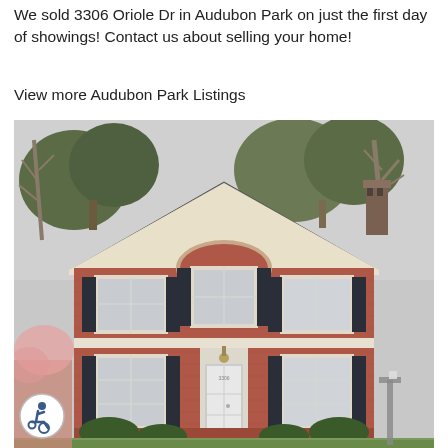We sold 3306 Oriole Dr in Audubon Park on just the first day of showings! Contact us about selling your home!
View more Audubon Park Listings
[Figure (photo): Exterior photo of a two-story red brick Colonial-style home at 3306 Oriole Dr in Audubon Park, featuring black shutters, a white arched entry door, symmetrical windows, a steep grey roof with chimney, green lawn, and surrounding bare trees. A lamp post is visible on the right and there is a concrete walkway leading to the front door.]